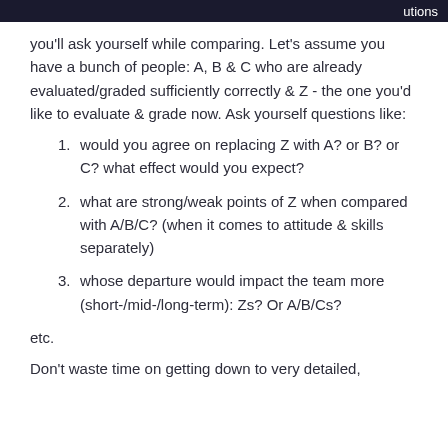utions
you'll ask yourself while comparing. Let's assume you have a bunch of people: A, B & C who are already evaluated/graded sufficiently correctly & Z - the one you'd like to evaluate & grade now. Ask yourself questions like:
would you agree on replacing Z with A? or B? or C? what effect would you expect?
what are strong/weak points of Z when compared with A/B/C? (when it comes to attitude & skills separately)
whose departure would impact the team more (short-/mid-/long-term): Zs? Or A/B/Cs?
etc.
Don't waste time on getting down to very detailed,